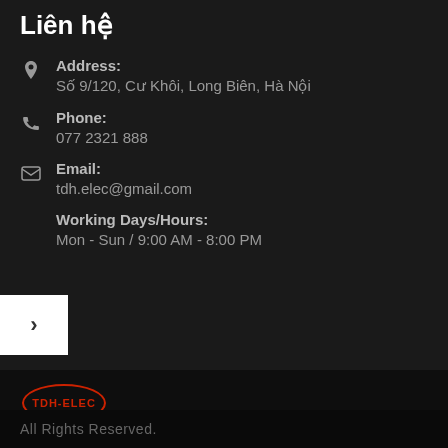Liên hệ
Address: Số 9/120, Cư Khôi, Long Biên, Hà Nội
Phone: 077 2321 888
Email: tdh.elec@gmail.com
Working Days/Hours: Mon - Sun / 9:00 AM - 8:00 PM
[Figure (logo): TDH-ELEC logo oval red border with hotline text]
All Rights Reserved.